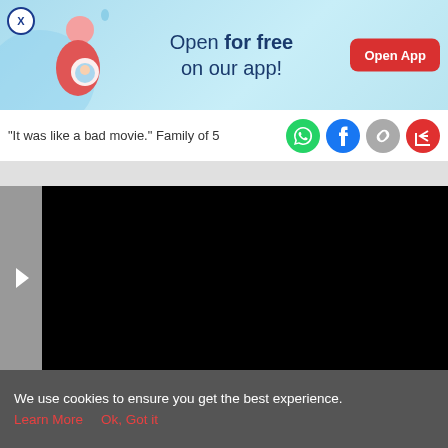[Figure (screenshot): App promotion banner with illustration of pregnant woman, text 'Open for free on our app!' and red 'Open App' button]
"It was like a bad movie." Family of 5
[Figure (screenshot): Black video player with gray arrow navigation on left]
[Figure (screenshot): Hefty Slider Bags advertisement: Hefty Close With Confidence]
[Figure (screenshot): Bottom navigation bar with Tools, Articles, Home (pregnant woman icon), Feed, Poll]
We use cookies to ensure you get the best experience.
Learn More   Ok, Got it